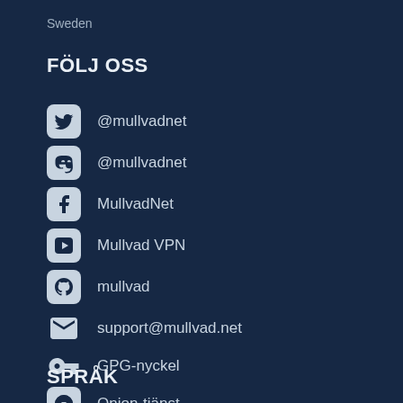Sweden
FÖLJ OSS
@mullvadnet (Twitter)
@mullvadnet (Mastodon)
MullvadNet (Facebook)
Mullvad VPN (YouTube)
mullvad (GitHub)
support@mullvad.net
GPG-nyckel
Onion-tjänst
SPRÅK